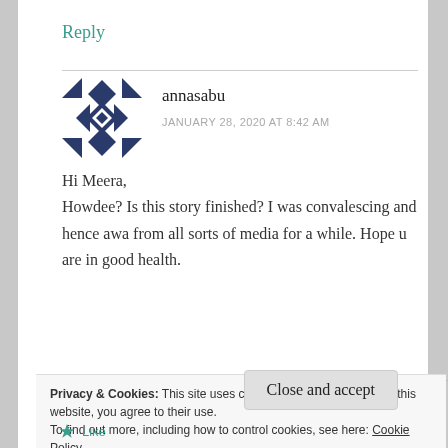Reply
[Figure (illustration): Geometric quilt-pattern avatar icon in dark navy blue and white, square with diamond shapes]
annasabu
JANUARY 28, 2020 AT 8:42 AM
Hi Meera,
Howdee? Is this story finished? I was convalescing and hence awa from all sorts of media for a while. Hope u are in good health.
Privacy & Cookies: This site uses cookies. By continuing to use this website, you agree to their use.
To find out more, including how to control cookies, see here: Cookie Policy
Close and accept
Like